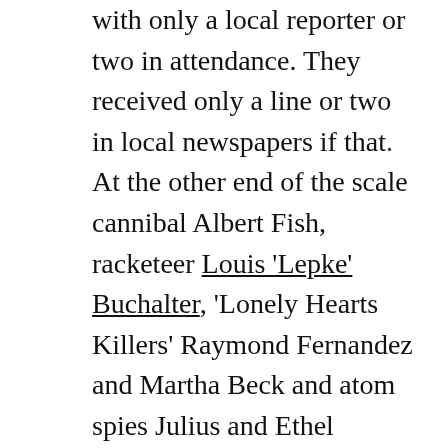with only a local reporter or two in attendance. They received only a line or two in local newspapers if that. At the other end of the scale cannibal Albert Fish, racketeer Louis 'Lepke' Buchalter, 'Lonely Hearts Killers' Raymond Fernandez and Martha Beck and atom spies Julius and Ethel Rosenberg attracted so many reporters that the Warden refused more journalists than he admitted.

This is in total contrast to British executions where only prison staff, executioners, occasional invited